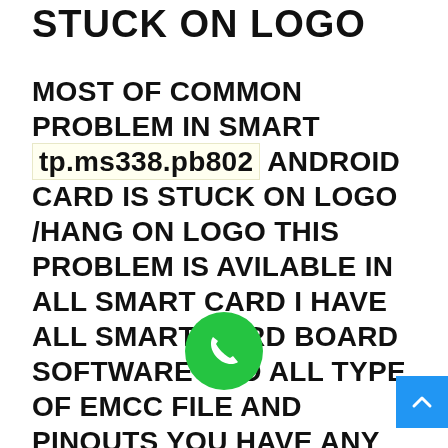STUCK ON LOGO
MOST OF COMMON PROBLEM IN SMART tp.ms338.pb802 ANDROID CARD IS STUCK ON LOGO /HANG ON LOGO THIS PROBLEM IS AVILABLE IN ALL SMART CARD I HAVE ALL SMART CARD BOARD SOFTWARE AND ALL TYPE OF EMCC FILE AND PINOUTS YOU HAVE ANY PROBLEM IN YOUR LED YOU CAN CALL ME I WILL